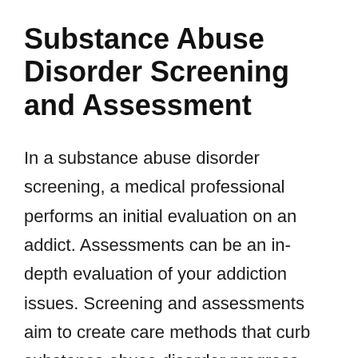Substance Abuse Disorder Screening and Assessment
In a substance abuse disorder screening, a medical professional performs an initial evaluation on an addict. Assessments can be an in-depth evaluation of your addiction issues. Screening and assessments aim to create care methods that curb substance abuse disorder progress.